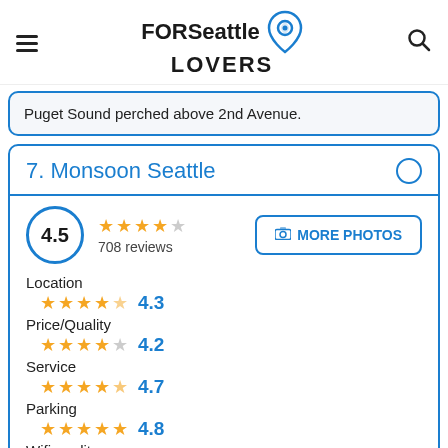FORSeattle LOVERS
Puget Sound perched above 2nd Avenue.
7. Monsoon Seattle
4.5 · 708 reviews
MORE PHOTOS
Location
★★★★☆ 4.3
Price/Quality
★★★★☆ 4.2
Service
★★★★½ 4.7
Parking
★★★★★ 4.8
Wifi quality